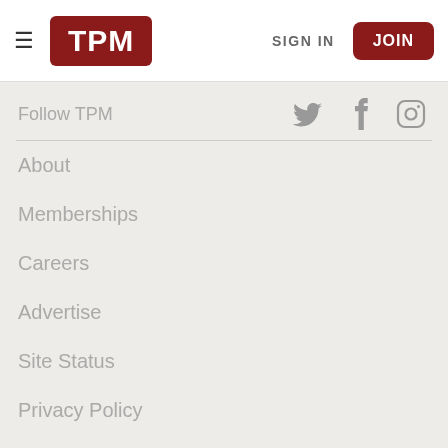TPM   SIGN IN   JOIN
Follow TPM
About
Memberships
Careers
Advertise
Site Status
Privacy Policy
FAQ
Newsletters